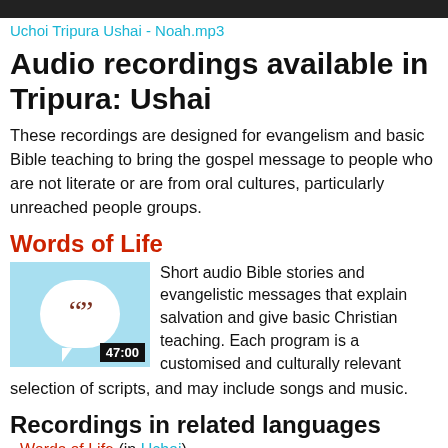Uchoi Tripura Ushai - Noah.mp3
Audio recordings available in Tripura: Ushai
These recordings are designed for evangelism and basic Bible teaching to bring the gospel message to people who are not literate or are from oral cultures, particularly unreached people groups.
Words of Life
[Figure (other): Thumbnail image with light blue background, white speech bubble with quotation marks, and duration badge showing 47:00]
Short audio Bible stories and evangelistic messages that explain salvation and give basic Christian teaching. Each program is a customised and culturally relevant selection of scripts, and may include songs and music.
Recordings in related languages
Words of Life (in Uchoi)